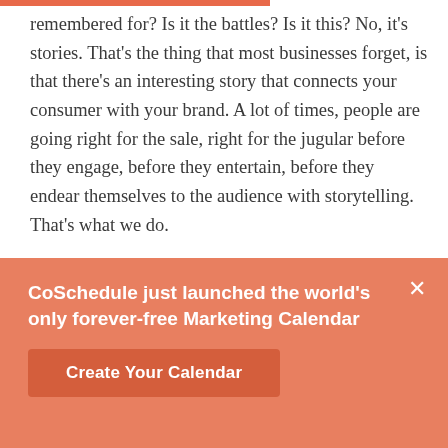remembered for? Is it the battles? Is it this? No, it's stories. That's the thing that most businesses forget, is that there's an interesting story that connects your consumer with your brand. A lot of times, people are going right for the sale, right for the jugular before they engage, before they entertain, before they endear themselves to the audience with storytelling. That's what we do.

All of the messages that you see from us, not all of them, that's a broad brush stroke, most of the
[Figure (infographic): Orange banner overlay with text: 'CoSchedule just launched the world's only forever-free Marketing Calendar' and a 'Create Your Calendar' button, plus a close (×) icon.]